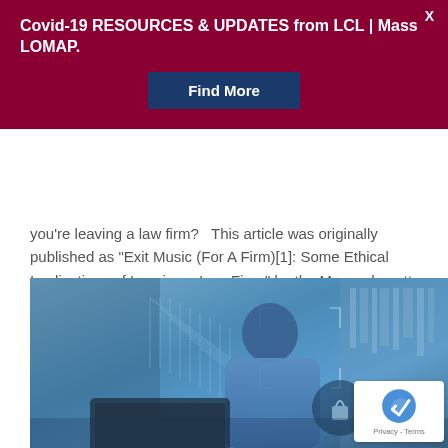Covid-19 RESOURCES & UPDATES from LCL | Mass LOMAP.
you're leaving a law firm?   This article was originally published as "Exit Music (For A Firm)[1]: Some Ethical Implications of Leaving a Law Firm," by the Massachusetts Board of Bar...
Read more
[Figure (photo): Person in blue clothing using a laptop, with digital security/technology overlay graphics suggesting cybersecurity theme. A reCAPTCHA badge is visible in the bottom right corner.]